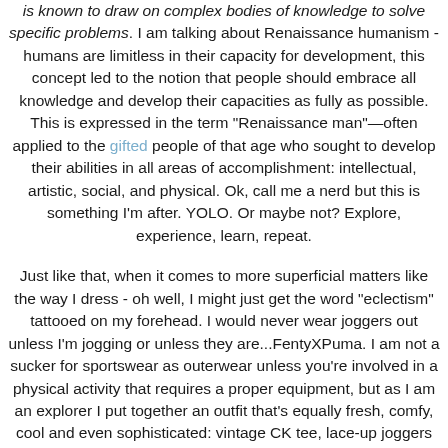is known to draw on complex bodies of knowledge to solve specific problems. I am talking about Renaissance humanism  - humans are limitless in their capacity for development, this concept led to the notion that people should embrace all knowledge and develop their capacities as fully as possible. This is expressed in the term "Renaissance man"—often applied to the gifted people of that age who sought to develop their abilities in all areas of accomplishment: intellectual, artistic, social, and physical. Ok, call me a nerd but this is something I'm after. YOLO. Or maybe not? Explore, experience, learn, repeat.
Just like that, when it comes to more superficial matters like the way I dress - oh well, I might just get the word "eclectism" tattooed on my forehead. I would never wear joggers out unless I'm jogging or unless they are...FentyXPuma. I am not a sucker for sportswear as outerwear unless you're involved in a physical activity that requires a proper equipment, but as I am an explorer I put together an outfit that's equally fresh, comfy, cool and even sophisticated: vintage CK tee, lace-up joggers from FentyXPuma that show a fair amount of skin, a sleek velvet